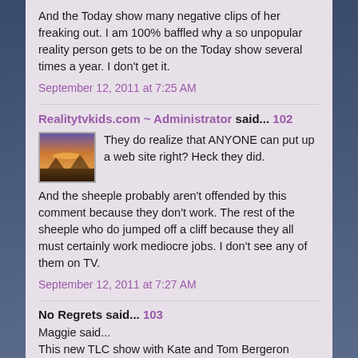And the Today show many negative clips of her freaking out. I am 100% baffled why a so unpopular reality person gets to be on the Today show several times a year. I don't get it.
September 12, 2011 at 7:25 AM
Realitytvkids.com ~ Administrator said... 102
[Figure (photo): Small avatar image showing a sunset or landscape scene with purple/orange tones]
They do realize that ANYONE can put up a web site right? Heck they did.
And the sheeple probably aren't offended by this comment because they don't work. The rest of the sheeple who do jumped off a cliff because they all must certainly work mediocre jobs. I don't see any of them on TV.
September 12, 2011 at 7:27 AM
No Regrets said... 103
Maggie said...
This new TLC show with Kate and Tom Bergeron